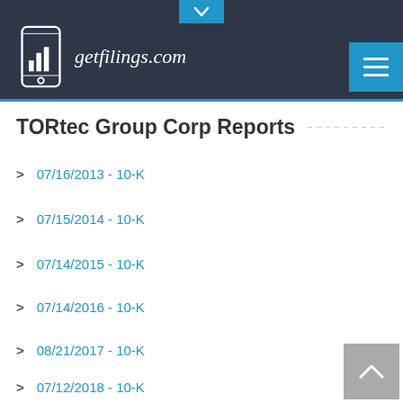getfilings.com
TORtec Group Corp Reports
07/16/2013 - 10-K
07/15/2014 - 10-K
07/14/2015 - 10-K
07/14/2016 - 10-K
08/21/2017 - 10-K
07/12/2018 - 10-K